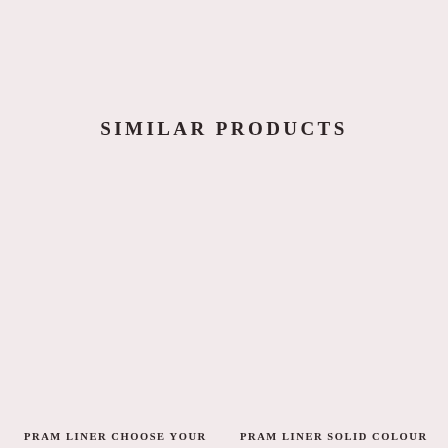SIMILAR PRODUCTS
PRAM LINER CHOOSE YOUR
PRAM LINER SOLID COLOUR